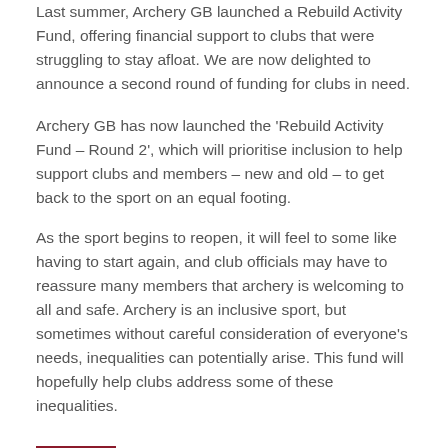Last summer, Archery GB launched a Rebuild Activity Fund, offering financial support to clubs that were struggling to stay afloat. We are now delighted to announce a second round of funding for clubs in need.
Archery GB has now launched the 'Rebuild Activity Fund – Round 2', which will prioritise inclusion to help support clubs and members – new and old – to get back to the sport on an equal footing.
As the sport begins to reopen, it will feel to some like having to start again, and club officials may have to reassure many members that archery is welcoming to all and safe. Archery is an inclusive sport, but sometimes without careful consideration of everyone's needs, inequalities can potentially arise. This fund will hopefully help clubs address some of these inequalities.
Rebuild Activity Fund 2020 success stories
Many clubs were successful in their applications last year, and we